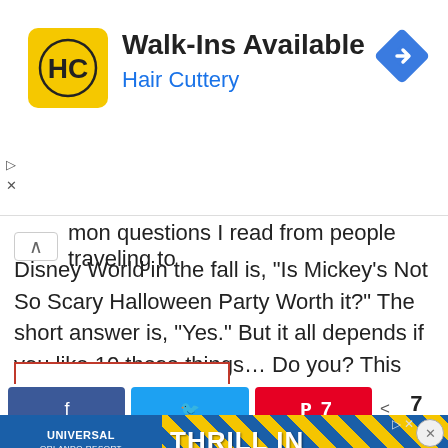[Figure (screenshot): Hair Cuttery advertisement banner with yellow HC logo, title 'Walk-Ins Available', subtitle 'Hair Cuttery', and blue navigation diamond icon]
mon questions I read from people traveling to Disney World in the fall is, “Is Mickey’s Not So Scary Halloween Party Worth it?” The short answer is, “Yes.” But it all depends if you like 10 these things… Do you? This post is…
READ ON →
[Figure (screenshot): Social sharing bar with Facebook, Twitter, Pinterest buttons and share count of 7]
[Figure (screenshot): Universal Orlando Resort advertisement banner with 'THRILL IN' text on blue and yellow diagonal stripe background]